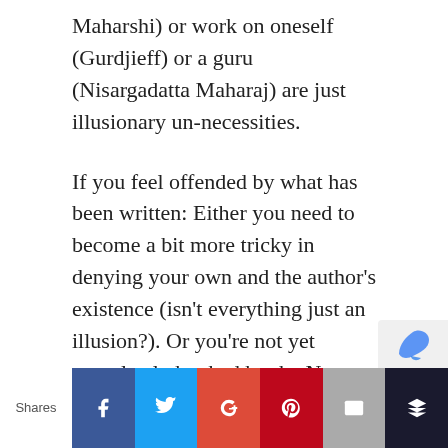Maharshi) or work on oneself (Gurdjieff) or a guru (Nisargadatta Maharaj) are just illusionary un-necessities.
If you feel offended by what has been written: Either you need to become a bit more tricky in denying your own and the author's existence (isn't everything just an illusion?). Or you're not yet completely hooked by the Neo-Advaita game and you might want to reconsider if this is the direction you want to take.
I offer to you the following dialog from Nisargadatta Maharaj...